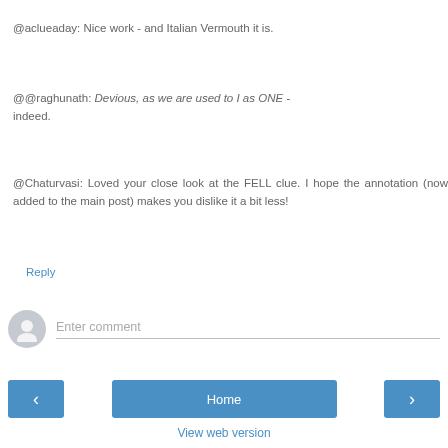@aclueaday: Nice work - and Italian Vermouth it is.
@@raghunath: Devious, as we are used to I as ONE - indeed.
@Chaturvasi: Loved your close look at the FELL clue. I hope the annotation (now added to the main post) makes you dislike it a bit less!
Reply
Enter comment
Home
View web version
Powered by Blogger.